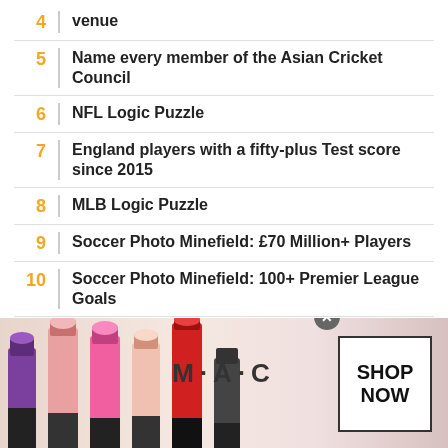4 venue
5 Name every member of the Asian Cricket Council
6 NFL Logic Puzzle
7 England players with a fifty-plus Test score since 2015
8 MLB Logic Puzzle
9 Soccer Photo Minefield: £70 Million+ Players
10 Soccer Photo Minefield: 100+ Premier League Goals
Explore More
[Figure (photo): MAC cosmetics advertisement showing lipsticks with SHOP NOW button]